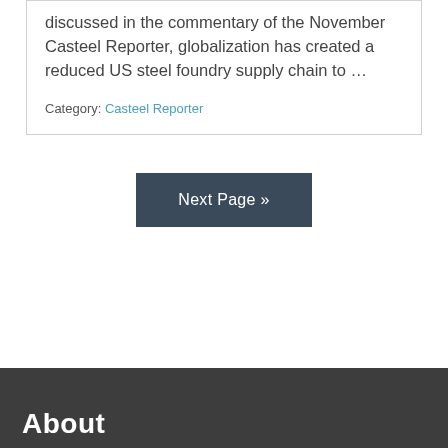discussed in the commentary of the November Casteel Reporter, globalization has created a reduced US steel foundry supply chain to …
Category: Casteel Reporter
Next Page »
About